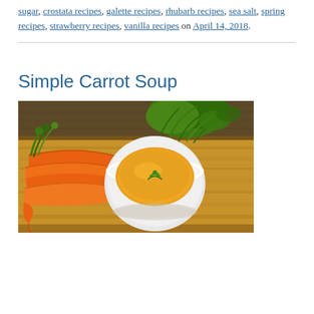sugar, crostata recipes, galette recipes, rhubarb recipes, sea salt, spring recipes, strawberry recipes, vanilla recipes on April 14, 2018.
Simple Carrot Soup
[Figure (photo): A bowl of orange carrot soup garnished with green herbs, surrounded by fresh carrots with green tops, placed on a wooden cutting board.]